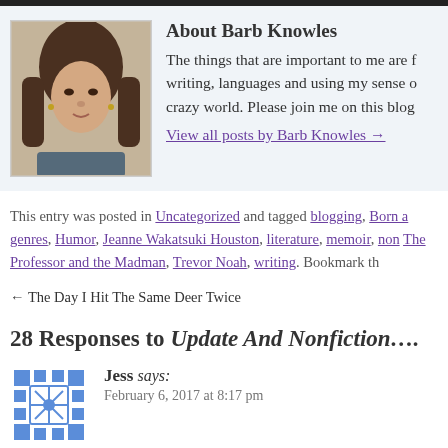[Figure (photo): Author photo of Barb Knowles, a woman with long dark hair]
About Barb Knowles
The things that are important to me are f writing, languages and using my sense of crazy world. Please join me on this blog
View all posts by Barb Knowles →
This entry was posted in Uncategorized and tagged blogging, Born a genres, Humor, Jeanne Wakatsuki Houston, literature, memoir, non The Professor and the Madman, Trevor Noah, writing. Bookmark th
← The Day I Hit The Same Deer Twice
28 Responses to Update And Nonfiction….
Jess says:
February 6, 2017 at 8:17 pm
I absolutely love Trevor Noah. He's so hilariou